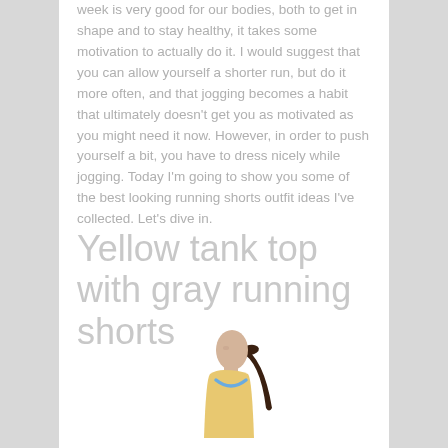week is very good for our bodies, both to get in shape and to stay healthy, it takes some motivation to actually do it. I would suggest that you can allow yourself a shorter run, but do it more often, and that jogging becomes a habit that ultimately doesn't get you as motivated as you might need it now. However, in order to push yourself a bit, you have to dress nicely while jogging. Today I'm going to show you some of the best looking running shorts outfit ideas I've collected. Let's dive in.
Yellow tank top with gray running shorts
[Figure (photo): A woman in a yellow tank top with a blue necklace, hair in a ponytail, viewed from a slight side angle, cropped at the top of the page bottom]